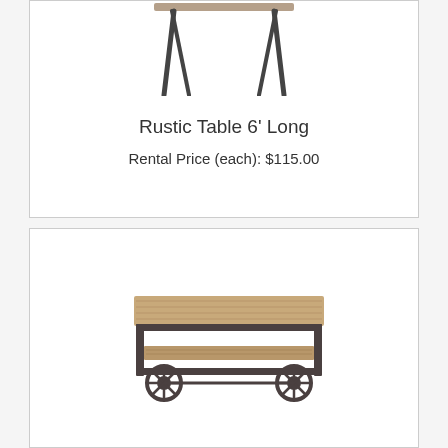[Figure (photo): Partial view of a rustic wooden table with dark metal hairpin-style legs, showing the bottom portion of the table top and legs from above]
Rustic Table 6' Long
Rental Price (each): $115.00
[Figure (photo): An industrial-style coffee table/cart with a rectangular wooden top, lower shelf, and large spoked wheels on a dark metal frame]